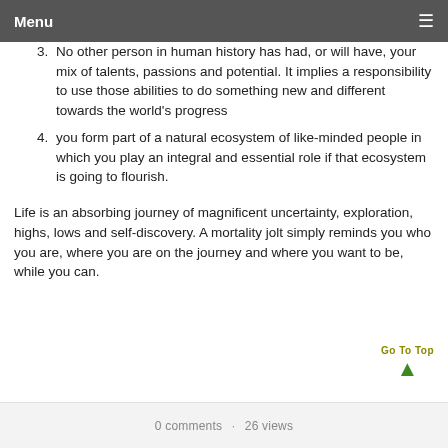Menu
No other person in human history has had, or will have, your mix of talents, passions and potential. It implies a responsibility to use those abilities to do something new and different towards the world's progress
you form part of a natural ecosystem of like-minded people in which you play an integral and essential role if that ecosystem is going to flourish.
Life is an absorbing journey of magnificent uncertainty, exploration, highs, lows and self-discovery. A mortality jolt simply reminds you who you are, where you are on the journey and where you want to be, while you can.
0 comments · 26 views